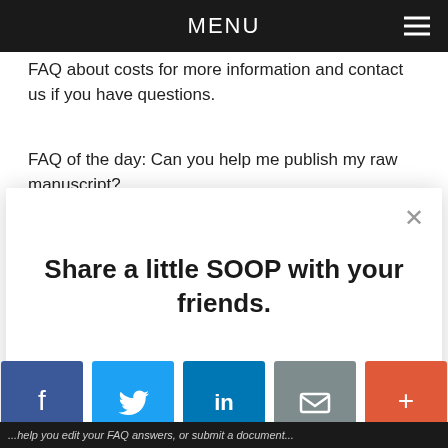MENU
FAQ about costs for more information and contact us if you have questions.
FAQ of the day: Can you help me publish my raw manuscript?
Share a little SOOP with your friends.
[Figure (infographic): Social share buttons: Facebook (blue), Twitter (light blue), LinkedIn (dark blue), Email (grey), More/Plus (orange-red)]
AddThis